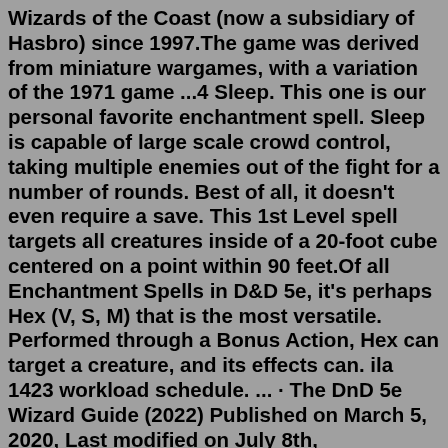Wizards of the Coast (now a subsidiary of Hasbro) since 1997.The game was derived from miniature wargames, with a variation of the 1971 game ...4 Sleep. This one is our personal favorite enchantment spell. Sleep is capable of large scale crowd control, taking multiple enemies out of the fight for a number of rounds. Best of all, it doesn't even require a save. This 1st Level spell targets all creatures inside of a 20-foot cube centered on a point within 90 feet.Of all Enchantment Spells in D&D 5e, it's perhaps Hex (V, S, M) that is the most versatile. Performed through a Bonus Action, Hex can target a creature, and its effects can. ila 1423 workload schedule. ... · The DnD 5e Wizard Guide (2022) Published on March 5, 2020, Last modified on July 8th, 2022.Search and filter the Magic The Gathering card databaseStrong enchantment; CL 13th; Craft Staff, crushing despair, mass suggestion, mind fog, sleep, suggestion, hideous laughter; Price 65,000 gp. Evocation. Usually very smooth and carved from hickory, willow, or yew, this staff allows use of the following spells: Magic missile...